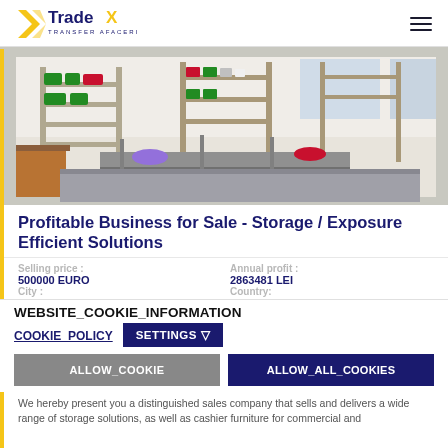TradeX TRANSFER AFACERI
[Figure (photo): Interior of a store with metal shelving units holding colorful baskets and containers, with cashier furniture in the foreground]
Profitable Business for Sale - Storage / Exposure Efficient Solutions
Selling price : 500000 EURO
Annual profit : 2863481 LEI
City : Bucharest
Country:
WEBSITE_COOKIE_INFORMATION
COOKIE_POLICY
SETTINGS
ALLOW_COOKIE
ALLOW_ALL_COOKIES
We hereby present you a distinguished sales company that sells and delivers a wide range of storage solutions, as well as cashier furniture for commercial and